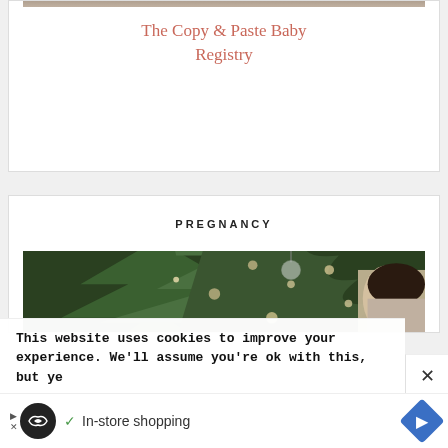[Figure (photo): Top portion of a photo visible at top of card — appears to be a lifestyle/baby related image]
The Copy & Paste Baby Registry
PREGNANCY
[Figure (photo): Photo of a decorated Christmas tree with ornaments, and a person with dark hair partially visible on the right side]
This website uses cookies to improve your experience. We'll assume you're ok with this, but ye
✓ In-store shopping